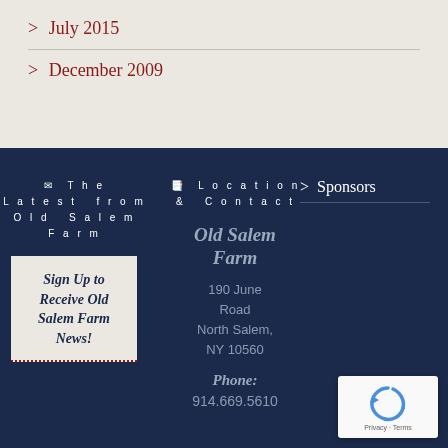> July 2015
> December 2009
✉ The Latest from Old Salem Farm
Sign Up to Receive Old Salem Farm News!
🗺 Location & Contact
Old Salem Farm
190 June Road North Salem, NY 10560
Phone:
914.669.5610
> Sponsors